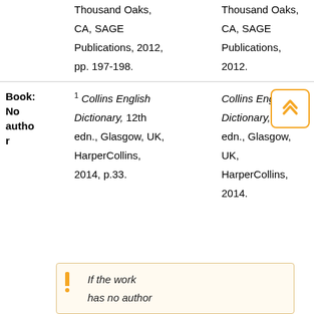Thousand Oaks, CA, SAGE Publications, 2012, pp. 197-198.
Thousand Oaks, CA, SAGE Publications, 2012.
Book: No author
1 Collins English Dictionary, 12th edn., Glasgow, UK, HarperCollins, 2014, p.33.
Collins English Dictionary, 12th edn., Glasgow, UK, HarperCollins, 2014.
[Figure (other): Orange double-chevron up arrow inside a rounded square border in orange]
If the work has no author